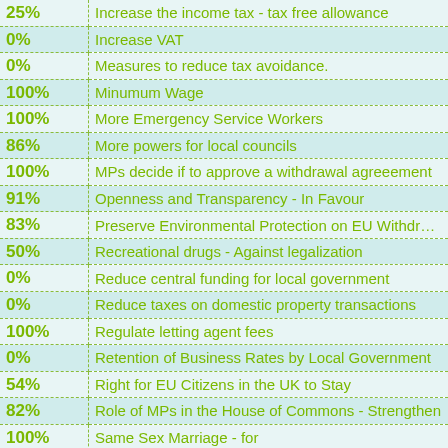| Percentage | Policy |
| --- | --- |
| 25% | Increase the income tax - tax free allowance |
| 0% | Increase VAT |
| 0% | Measures to reduce tax avoidance. |
| 100% | Minumum Wage |
| 100% | More Emergency Service Workers |
| 86% | More powers for local councils |
| 100% | MPs decide if to approve a withdrawal agreeement |
| 91% | Openness and Transparency - In Favour |
| 83% | Preserve Environmental Protection on EU Withdrawal |
| 50% | Recreational drugs - Against legalization |
| 0% | Reduce central funding for local government |
| 0% | Reduce taxes on domestic property transactions |
| 100% | Regulate letting agent fees |
| 0% | Retention of Business Rates by Local Government |
| 54% | Right for EU Citizens in the UK to Stay |
| 82% | Role of MPs in the House of Commons - Strengthen |
| 100% | Same Sex Marriage - for |
| 100% | Stop climate change |